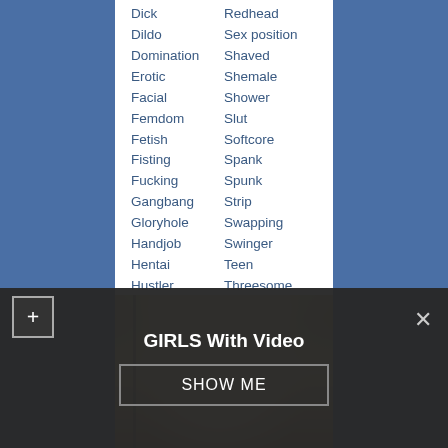Dick
Dildo
Domination
Erotic
Facial
Femdom
Fetish
Fisting
Fucking
Gangbang
Gloryhole
Handjob
Hentai
Hustler
Interracial
Jack off
Latina
Redhead
Sex position
Shaved
Shemale
Shower
Slut
Softcore
Spank
Spunk
Strip
Swapping
Swinger
Teen
Threesome
Twink
Upskirt
Virgin
[Figure (photo): Photo of a blond woman looking toward camera]
GIRLS With Video
SHOW ME